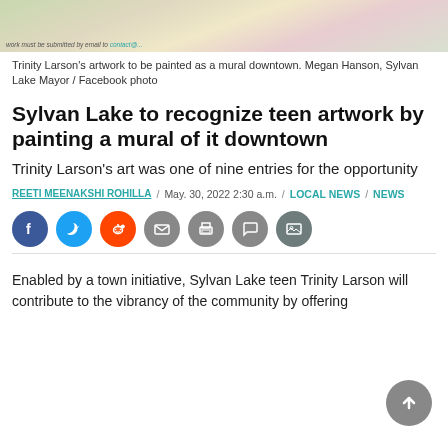[Figure (photo): Top portion of Trinity Larson's artwork showing a floral illustration to be painted as a mural downtown]
Trinity Larson's artwork to be painted as a mural downtown. Megan Hanson, Sylvan Lake Mayor / Facebook photo
Sylvan Lake to recognize teen artwork by painting a mural of it downtown
Trinity Larson's art was one of nine entries for the opportunity
REETI MEENAKSHI ROHILLA / May. 30, 2022 2:30 a.m. / LOCAL NEWS / NEWS
[Figure (infographic): Social media share buttons: Facebook, Twitter, Reddit, Email, Print, Comment, Photo]
Enabled by a town initiative, Sylvan Lake teen Trinity Larson will contribute to the vibrancy of the community by offering